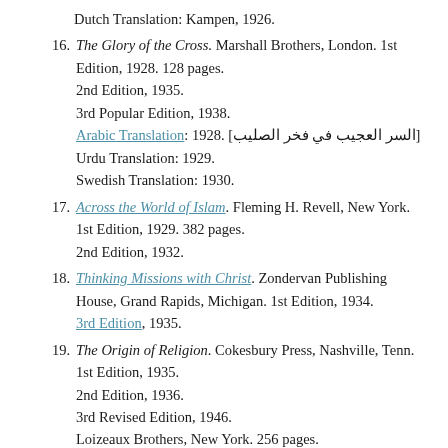Dutch Translation: Kampen, 1926.
16. The Glory of the Cross. Marshall Brothers, London. 1st Edition, 1928. 128 pages.
2nd Edition, 1935.
3rd Popular Edition, 1938.
Arabic Translation: 1928. [السر العجيب في فخر الصليب]
Urdu Translation: 1929.
Swedish Translation: 1930.
17. Across the World of Islam. Fleming H. Revell, New York. 1st Edition, 1929. 382 pages.
2nd Edition, 1932.
18. Thinking Missions with Christ. Zondervan Publishing House, Grand Rapids, Michigan. 1st Edition, 1934.
3rd Edition, 1935.
19. The Origin of Religion. Cokesbury Press, Nashville, Tenn. 1st Edition, 1935.
2nd Edition, 1936.
3rd Revised Edition, 1946.
Loizeaux Brothers, New York. 256 pages.